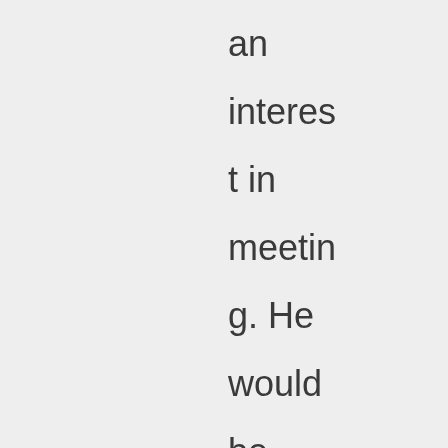an interest in meeting. He would be able to talk about the particulars. Marcos, Cambr